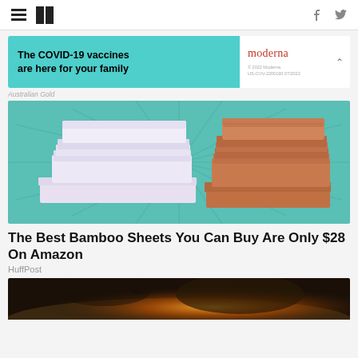HuffPost navigation with hamburger menu, logo, facebook and twitter icons
[Figure (screenshot): Advertisement banner: teal background with text 'The COVID-19 vaccines are here for your family', Moderna logo and legal text on white right panel]
Australian Gold
[Figure (photo): Product photo of bamboo sheets sets: lavender/white folded sheets on left, orange/rust folded sheets on right, on a teal starburst background]
The Best Bamboo Sheets You Can Buy Are Only $28 On Amazon
HuffPost
[Figure (photo): Partial bottom image showing what appears to be an action/explosion scene]